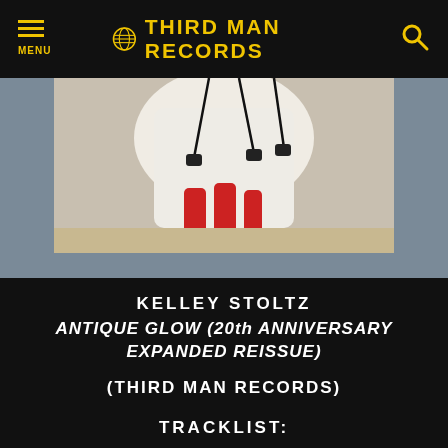MENU | THIRD MAN RECORDS
[Figure (photo): Album cover image showing white fabric or clothing with red accents hanging by black cords/strings against a sandy/snowy background, set against a gray background]
KELLEY STOLTZ
ANTIQUE GLOW (20th ANNIVERSARY EXPANDED REISSUE)
(THIRD MAN RECORDS)
TRACKLIST: